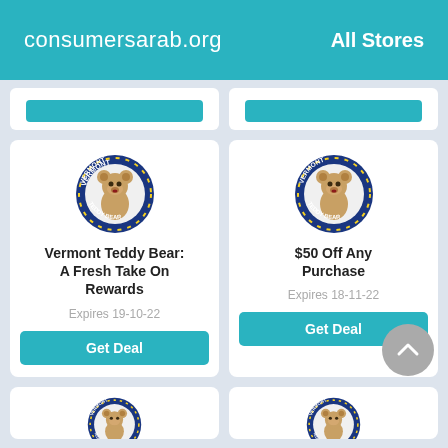consumersarab.org   All Stores
[Figure (logo): Vermont Teddy Bear circular logo with teddy bear image, left card]
Vermont Teddy Bear: A Fresh Take On Rewards
Expires 19-10-22
Get Deal
[Figure (logo): Vermont Teddy Bear circular logo with teddy bear image, right card]
$50 Off Any Purchase
Expires 18-11-22
Get Deal
[Figure (logo): Vermont Teddy Bear circular logo, bottom left partial]
[Figure (logo): Vermont Teddy Bear circular logo, bottom right partial]